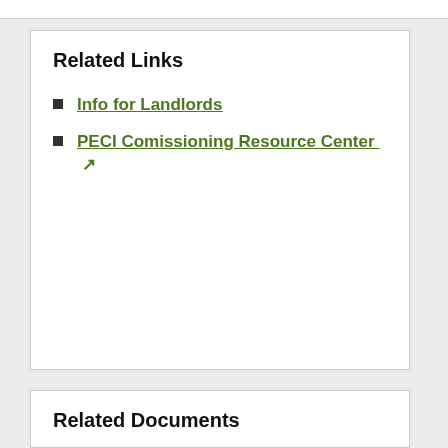Related Links
Info for Landlords
PECI Comissioning Resource Center [external link]
Related Documents